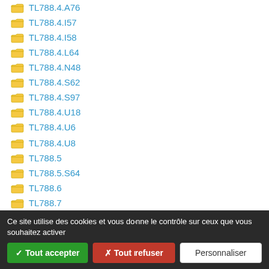TL788.4.A76
TL788.4.I57
TL788.4.I58
TL788.4.L64
TL788.4.N48
TL788.4.S62
TL788.4.S97
TL788.4.U18
TL788.4.U6
TL788.4.U8
TL788.5
TL788.5.S64
TL788.6
TL788.7
TL788.R47
Ce site utilise des cookies et vous donne le contrôle sur ceux que vous souhaitez activer
✓ Tout accepter | ✗ Tout refuser | Personnaliser